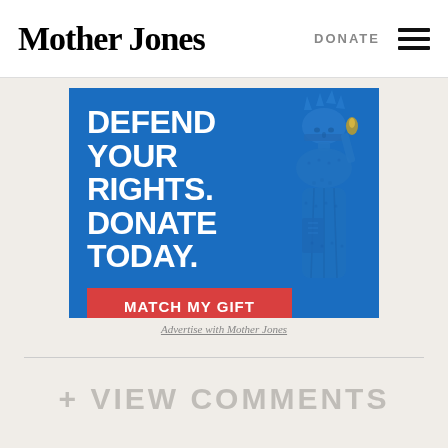Mother Jones | DONATE
[Figure (illustration): Mother Jones donation advertisement banner with blue background. Large white bold text reads 'DEFEND YOUR RIGHTS. DONATE TODAY.' with a red button labeled 'MATCH MY GIFT'. Right side shows a halftone-style illustration of the Statue of Liberty.]
Advertise with Mother Jones
+ VIEW COMMENTS